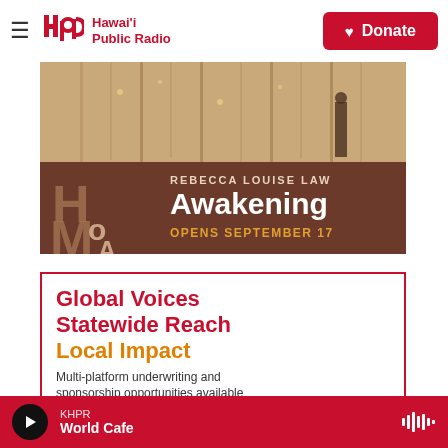Hawai'i Public Radio — Donate
[Figure (photo): HOMA museum advertisement for Rebecca Louise Law 'Awakening' exhibition, opens September 17. Shows hanging floral installation artwork with brown background and large 'HoMA' letters.]
Global Voices Statewide Reach Local Impact
Multi-platform underwriting and sponsorship opportunities available
KHPR World Cafe